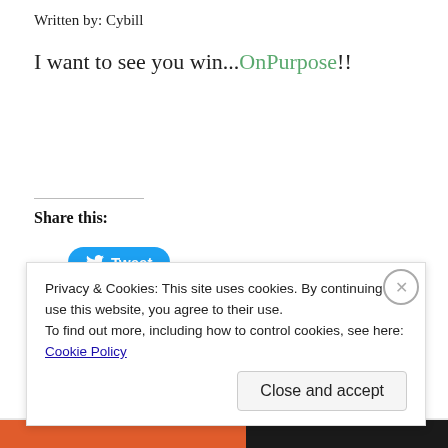Written by: Cybill
I want to see you win...OnPurpose!!
Share this:
[Figure (other): Tweet button — blue rounded rectangle with Twitter bird icon and 'Tweet' text]
[Figure (other): Like button and user avatar thumbnails row]
Privacy & Cookies: This site uses cookies. By continuing to use this website, you agree to their use.
To find out more, including how to control cookies, see here: Cookie Policy
Close and accept